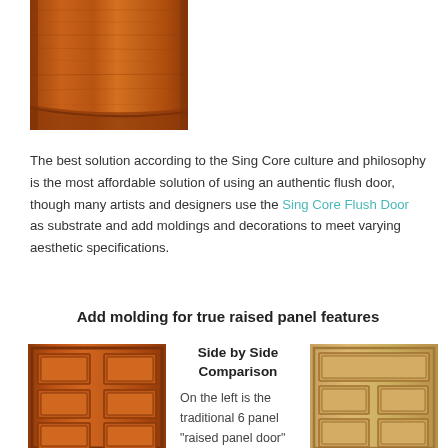[Figure (photo): Close-up photo of a wooden door surface showing warm reddish-brown wood grain with a curved molding detail at the bottom]
The best solution according to the Sing Core culture and philosophy is the most affordable solution of using an authentic flush door, though many artists and designers use the Sing Core Flush Door as substrate and add moldings and decorations to meet varying aesthetic specifications.
Add molding for true raised panel features
[Figure (photo): Traditional 6 panel raised panel door with dark reddish-brown wood finish, showing classic raised panel design]
Side by Side Comparison
On the left is the traditional 6 panel "raised panel door"
[Figure (photo): Light wood colored door with 6 panel design, showing a lighter wood or bamboo material door for comparison]